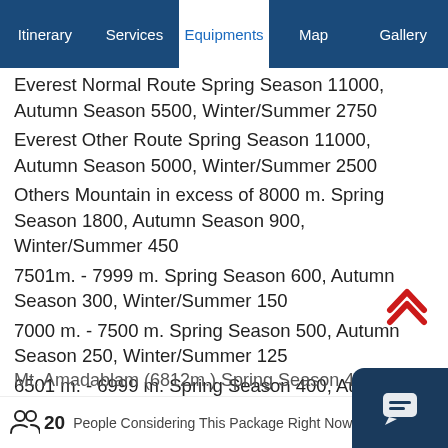Itinerary | Services | Equipments | Map | Gallery
Everest Normal Route Spring Season 11000, Autumn Season 5500, Winter/Summer 2750
Everest Other Route Spring Season 11000, Autumn Season 5000, Winter/Summer 2500
Others Mountain in excess of 8000 m. Spring Season 1800, Autumn Season 900, Winter/Summer 450
7501m. - 7999 m. Spring Season 600, Autumn Season 300, Winter/Summer 150
7000 m. - 7500 m. Spring Season 500, Autumn Season 250, Winter/Summer 125
6501 m. - 6999 m. Spring Season 400, Autumn Season 200, Winter/Summer 100
Mt. Amadablam (6812m.) Spring Season 400, Aut…
20 People Considering This Package Right Now